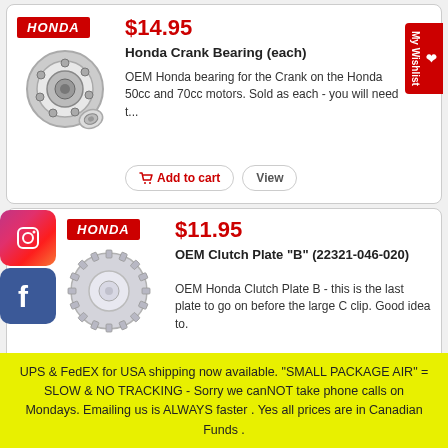[Figure (illustration): Honda logo (red rectangle with white italic HONDA text) and a crank bearing product image (ball bearing)]
$14.95
Honda Crank Bearing (each)
OEM Honda bearing for the Crank on the Honda 50cc and 70cc motors. Sold as each - you will need t...
[Figure (illustration): Honda logo (red rectangle with white italic HONDA text) and OEM Clutch Plate B product image]
$11.95
OEM Clutch Plate "B" (22321-046-020)
OEM Honda Clutch Plate B - this is the last plate to go on before the large C clip. Good idea to.
UPS & FedEX for USA shipping now available. "SMALL PACKAGE AIR" = SLOW & NO TRACKING - Sorry we canNOT take phone calls on Mondays. Emailing us is ALWAYS faster . Yes all prices are in Canadian Funds .